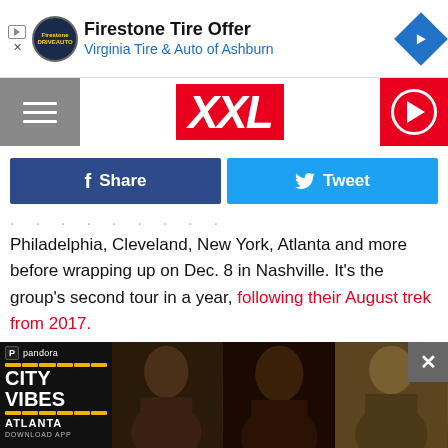[Figure (screenshot): Advertisement bar showing Firestone Tire Offer / Virginia Tire & Auto of Ashburn]
[Figure (logo): XXL magazine logo in red with hamburger menu and play button]
[Figure (screenshot): Facebook Share and Twitter Tweet social sharing buttons]
Philadelphia, Cleveland, New York, Atlanta and more before wrapping up on Dec. 8 in Nashville. It's the group's second tour in a year, following their August trek from 2017.
Wat... w.
Atm
Oct
Oct
Oct
[Figure (photo): Pandora City Vibes Atlanta advertisement overlay with three hip-hop artists photo collage]
[Figure (photo): Close button X overlay on the advertisement]